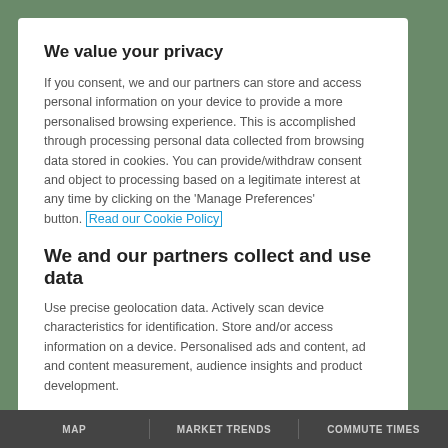[Figure (screenshot): Background screenshot of a map/aerial view website]
We value your privacy
If you consent, we and our partners can store and access personal information on your device to provide a more personalised browsing experience. This is accomplished through processing personal data collected from browsing data stored in cookies. You can provide/withdraw consent and object to processing based on a legitimate interest at any time by clicking on the ‘Manage Preferences’ button. Read our Cookie Policy
We and our partners collect and use data
Use precise geolocation data. Actively scan device characteristics for identification. Store and/or access information on a device. Personalised ads and content, ad and content measurement, audience insights and product development.
List of Partners (vendors)
I ACCEPT
MAP   MARKET TRENDS   COMMUTE TIMES